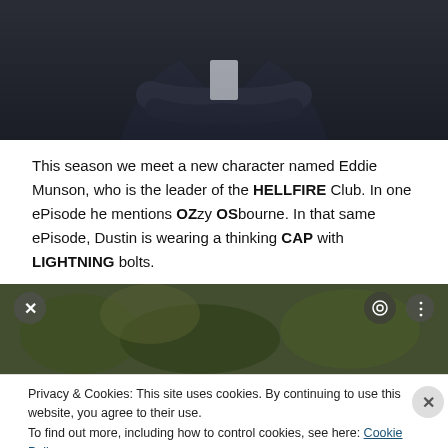[Figure (photo): Photo of a person in a dark suit with arms crossed, cropped at chest/torso level]
This season we meet a new character named Eddie Munson, who is the leader of the HELLFIRE Club. In one ePisode he mentions OZzy OSbourne. In that same ePisode, Dustin is wearing a thinking CAP with LIGHTNING bolts.
[Figure (photo): Photo of outdoor forest/nature scene with dark foliage, partially obscured by cookie consent overlay]
Privacy & Cookies: This site uses cookies. By continuing to use this website, you agree to their use. To find out more, including how to control cookies, see here: Cookie Policy
Close and accept